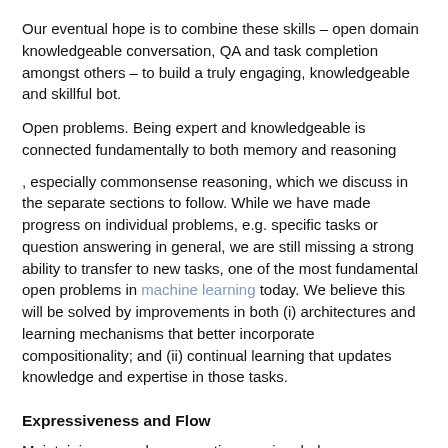Our eventual hope is to combine these skills – open domain knowledgeable conversation, QA and task completion amongst others – to build a truly engaging, knowledgeable and skillful bot.
Open problems. Being expert and knowledgeable is connected fundamentally to both memory and reasoning
, especially commonsense reasoning, which we discuss in the separate sections to follow. While we have made progress on individual problems, e.g. specific tasks or question answering in general, we are still missing a strong ability to transfer to new tasks, one of the most fundamental open problems in machine learning today. We believe this will be solved by improvements in both (i) architectures and learning mechanisms that better incorporate compositionality; and (ii) continual learning that updates knowledge and expertise in those tasks.
Expressiveness and Flow
Maintaining a good conversation requires balance –